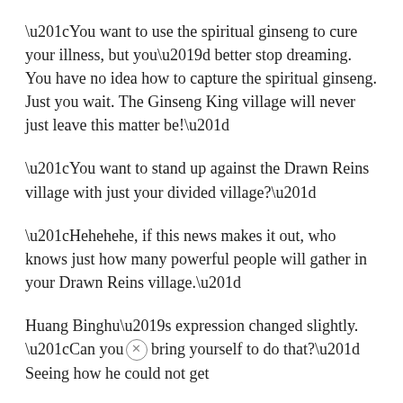“You want to use the spiritual ginseng to cure your illness, but you’d better stop dreaming. You have no idea how to capture the spiritual ginseng. Just you wait. The Ginseng King village will never just leave this matter be!”
“You want to stand up against the Drawn Reins village with just your divided village?”
“Hehehehe, if this news makes it out, who knows just how many powerful people will gather in your Drawn Reins village.”
Huang Binghu’s expression changed slightly. “Can you bring yourself to do that?” Seeing how he could not get